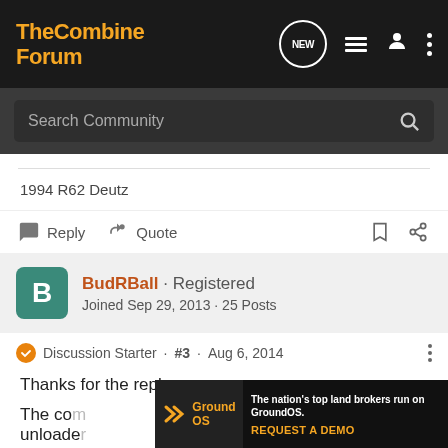The Combine Forum
Search Community
1994 R62 Deutz
Reply  Quote
BudRBall · Registered
Joined Sep 29, 2013 · 25 Posts
Discussion Starter · #3 · Aug 6, 2014
Thanks for the reply,
The co... I unloade... ack,
[Figure (screenshot): GroundOS advertisement banner: 'The nation's top land brokers run on GroundOS. REQUEST A DEMO']